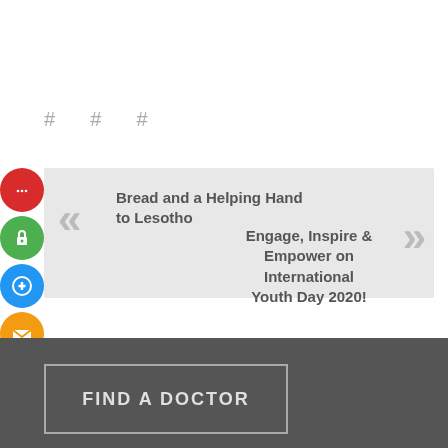# # #
Bread and a Helping Hand to Lesotho
Engage, Inspire & Empower on International Youth Day 2020!
FIND A DOCTOR